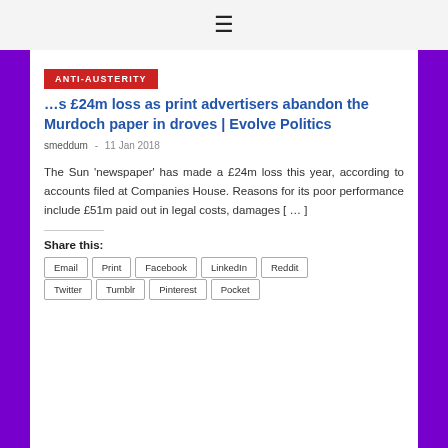☰
ANTI-AUSTERITY
…s £24m loss as print advertisers abandon the Murdoch paper in droves | Evolve Politics
smeddum  -  11 Jan 2018
The Sun 'newspaper' has made a £24m loss this year, according to accounts filed at Companies House. Reasons for its poor performance include £51m paid out in legal costs, damages [ … ]
Share this:
Email
Print
Facebook
LinkedIn
Reddit
Twitter
Tumblr
Pinterest
Pocket